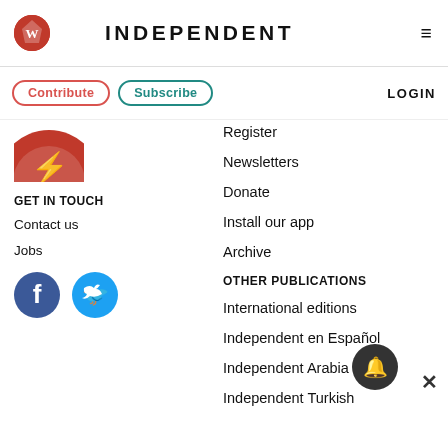INDEPENDENT
Contribute | Subscribe | LOGIN
[Figure (logo): Independent eagle logo (partial, red circle with white eagle)]
GET IN TOUCH
Contact us
Jobs
[Figure (illustration): Facebook and Twitter social media icons]
Register
Newsletters
Donate
Install our app
Archive
OTHER PUBLICATIONS
International editions
Independent en Español
Independent Arabia
Independent Turkish